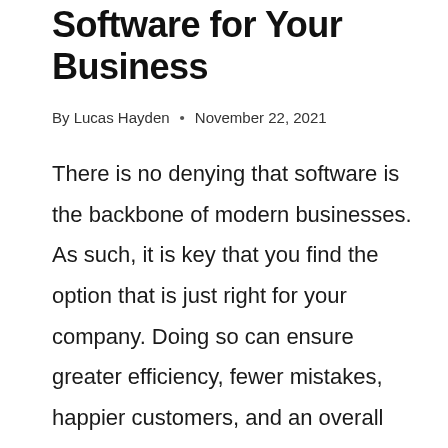Best Administration Software for Your Business
By Lucas Hayden · November 22, 2021
There is no denying that software is the backbone of modern businesses. As such, it is key that you find the option that is just right for your company. Doing so can ensure greater efficiency, fewer mistakes, happier customers, and an overall